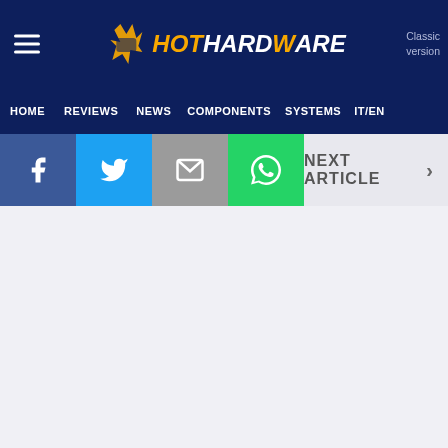HotHardware — Classic version
HOME  REVIEWS  NEWS  COMPONENTS  SYSTEMS  IT/EN
NEXT ARTICLE >